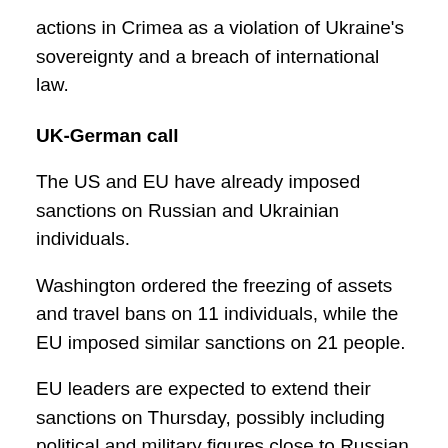actions in Crimea as a violation of Ukraine's sovereignty and a breach of international law.
UK-German call
The US and EU have already imposed sanctions on Russian and Ukrainian individuals.
Washington ordered the freezing of assets and travel bans on 11 individuals, while the EU imposed similar sanctions on 21 people.
EU leaders are expected to extend their sanctions on Thursday, possibly including political and military figures close to Russian President Vladimir Putin.
British Prime Minister David Cameron called German Chancellor Angela Merkel on